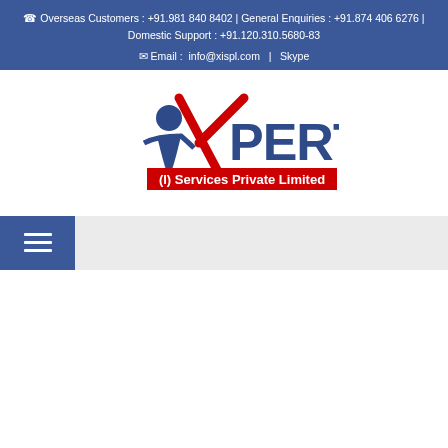Overseas Customers : +91.981 840 8402 | General Enquiries : +91.874 406 6276 | Domestic Support : +91.120.310.5680-83  Email :  info@xispl.com  |  Skype
[Figure (logo): Xpert (I) Services Private Limited logo with red and blue design, tagline: IT & Web enabled services]
[Figure (other): Navigation bar with hamburger menu icon (three horizontal lines) on blue background]